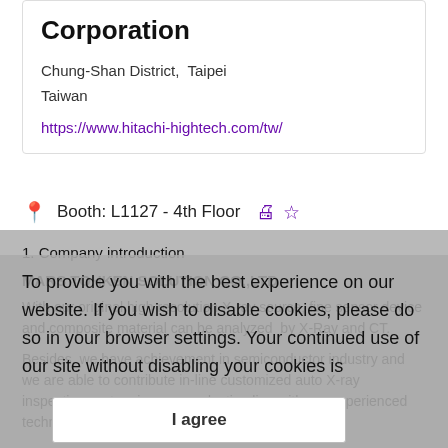Corporation
Chung-Shan District,  Taipei
Taiwan
https://www.hitachi-hightech.com/tw/
Booth: L1127 - 4th Floor
1. Company introduction
MARS TOHKEN SOLUTION CO.,LTD
With our original high resolution X-ray source, fine sensor device and composite material can be analyzed by X-Ray and CT.
Besides, we have achievement in semiconductor industry and we are able to contribute in-line customized auto X-ray inspection system in your production line with our experienced technology.
To provide you with the best experience on our website. If you wish to disable cookies, please do so in your browser settings. Your continued use of our site without disabling your cookies is
I agree
2. Product description
Product name:  All-purpose nanoscale X-ray Inspection system TUX-3300N